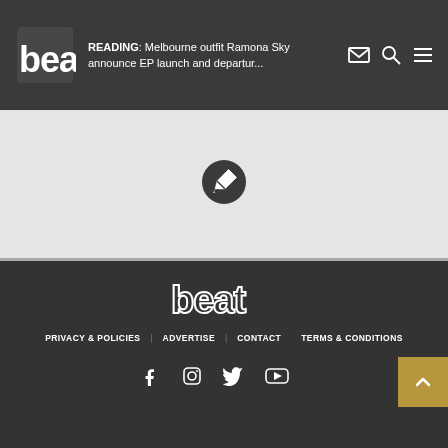beat | READING: Melbourne outfit Ramona Sky announce EP launch and departur...
[Figure (logo): Circular dark pencil/edit icon in the middle gray section]
[Figure (logo): Beat logo in white on dark footer background]
PRIVACY & POLICIES   ADVERTISE   CONTACT   TERMS & CONDITIONS
[Figure (illustration): Social media icons: Facebook, Instagram, Twitter, YouTube. Back to top button (gold/mustard color with upward chevron).]